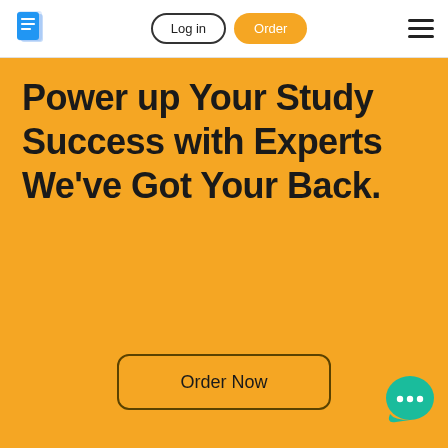[Figure (logo): Document/clipboard icon in blue, representing a writing/academic service logo]
Log in
Order
[Figure (other): Hamburger menu icon (three horizontal lines)]
Power up Your Study Success with Experts We've Got Your Back.
Order Now
[Figure (illustration): Teal/green speech bubble chat icon with three dots, representing a live chat widget]